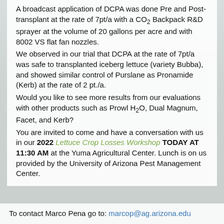A broadcast application of DCPA was done Pre and Post-transplant at the rate of 7pt/a with a CO₂ Backpack R&D sprayer at the volume of 20 gallons per acre and with 8002 VS flat fan nozzles.
We observed in our trial that DCPA at the rate of 7pt/a was safe to transplanted iceberg lettuce (variety Bubba), and showed similar control of Purslane as Pronamide (Kerb) at the rate of 2 pt./a.
Would you like to see more results from our evaluations with other products such as Prowl H₂O, Dual Magnum, Facet, and Kerb?
You are invited to come and have a conversation with us in our 2022 Lettuce Crop Losses Workshop TODAY AT 11:30 AM at the Yuma Agricultural Center. Lunch is on us provided by the University of Arizona Pest Management Center.
To contact Marco Pena go to: marcop@ag.arizona.edu